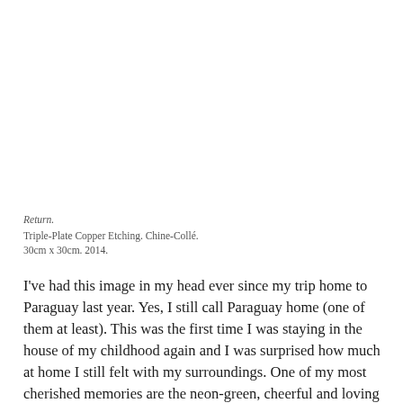Return.
Triple-Plate Copper Etching. Chine-Collé.
30cm x 30cm. 2014.
I've had this image in my head ever since my trip home to Paraguay last year. Yes, I still call Paraguay home (one of them at least). This was the first time I was staying in the house of my childhood again and I was surprised how much at home I still felt with my surroundings. One of my most cherished memories are the neon-green, cheerful and loving parakeets nibbling at the beautiful, hand-sized blossoms of the bottle tree at my aunt's place, my favourite holiday destination. Bottle trees absorb water into their soft wood (very important in an arid region) and store the moisture in their ever expanding trunks, which they then protect from animals with giant spikes, forming a protected sanctuary. We used to have a bottle tree in our yard under which we often